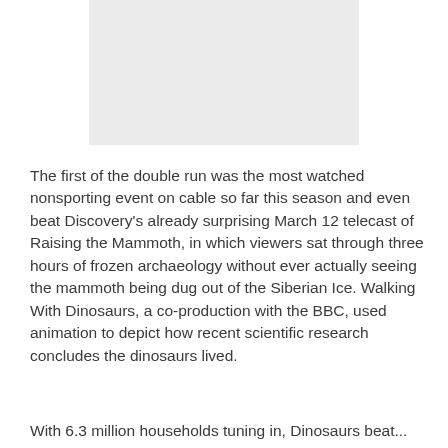[Figure (other): Gray rectangular image placeholder at the top center of the page]
The first of the double run was the most watched nonsporting event on cable so far this season and even beat Discovery's already surprising March 12 telecast of Raising the Mammoth, in which viewers sat through three hours of frozen archaeology without ever actually seeing the mammoth being dug out of the Siberian Ice. Walking With Dinosaurs, a co-production with the BBC, used animation to depict how recent scientific research concludes the dinosaurs lived.
With 6.3 million households tuning in, Dinosaurs beat...